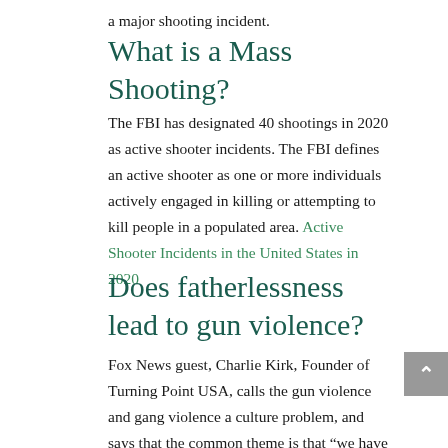a major shooting incident.
What is a Mass Shooting?
The FBI has designated 40 shootings in 2020 as active shooter incidents. The FBI defines an active shooter as one or more individuals actively engaged in killing or attempting to kill people in a populated area. Active Shooter Incidents in the United States in 2020
Does fatherlessness lead to gun violence?
Fox News guest, Charlie Kirk, Founder of Turning Point USA, calls the gun violence and gang violence a culture problem, and says that the common theme is that “we have a lack of father problem in the black communities, especially in Chicago.” He says that the single motherhood rate in the 1960s “was about 18% in the black community, now it’s over 75%. That means